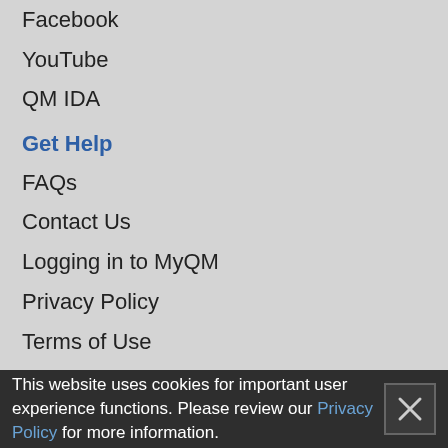Facebook
YouTube
QM IDA
Get Help
FAQs
Contact Us
Logging in to MyQM
Privacy Policy
Terms of Use
Accessibility Policy
Contact QM Support
Show Me
How QM Works
QM Certified Courses
QM Certified Programs
This website uses cookies for important user experience functions. Please review our Privacy Policy for more information.